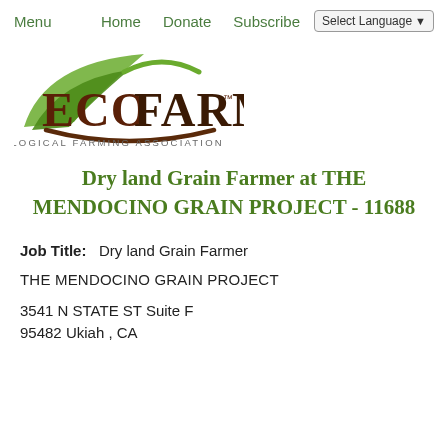Menu   Home   Donate   Subscribe   Select Language
[Figure (logo): EcoFarm – Ecological Farming Association logo with green leaf swoosh above the word ECOFARM in dark brown, and tagline ECOLOGICAL FARMING ASSOCIATION below]
Dry land Grain Farmer at THE MENDOCINO GRAIN PROJECT - 11688
Job Title:   Dry land Grain Farmer
THE MENDOCINO GRAIN PROJECT
3541 N STATE ST Suite F
95482 Ukiah , CA